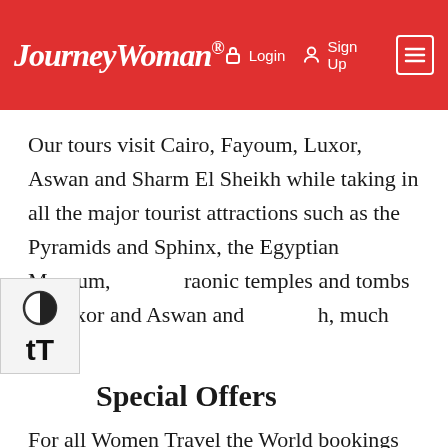JourneyWoman® Login Sign Up
Our tours visit Cairo, Fayoum, Luxor, Aswan and Sharm El Sheikh while taking in all the major tourist attractions such as the Pyramids and Sphinx, the Egyptian Museum, Pharaonic temples and tombs in Luxor and Aswan and much, much more.
Special Offers
For all Women Travel the World bookings receive a 10% discount off all our tours. Please add reference: 'women travel the world' at the time of booking to receive discount.